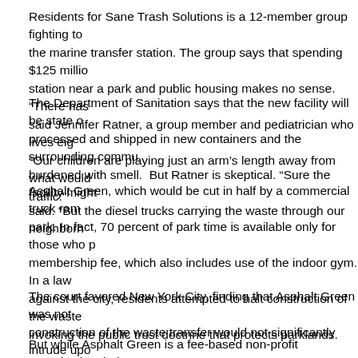Residents for Sane Trash Solutions is a 12-member group fighting to stop the marine transfer station. The group says that spending $125 million on a station near a park and public housing makes no sense. “There has said Jennifer Ratner, a group member and pediatrician who lives eig “Our children are playing just an arm’s length away from what would traffic.”
The Department of Sanitation says that the new facility will be state o processed and shipped in new containers and the surrounding comm burdened with smell. But Ratner is skeptical. “Sure the facility might said. “But the diesel trucks carrying the waste through our neighborh
Asphalt Green, which would be cut in half by a commercial truck ram park. In fact, 70 percent of park time is available only for those who p membership fee, which also includes use of the indoor gym. In a law against the city, residents attempted to halt construction of the waste invoking the public trust doctrine that protects parklands.
The court favored New York City, finding that Asphalt Green was not construction of the waste transfer would not significantly intrude upo
But while Asphalt Green is a fee-based non-profit organization, it do